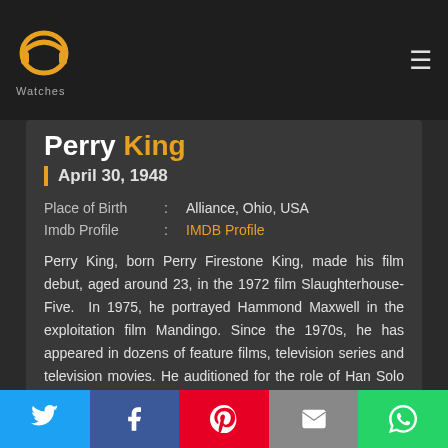PTP Watches
Perry King
April 30, 1948
Place of Birth : Alliance, Ohio, USA
Imdb Profile : IMDB Profile
Perry King, born Perry Firestone King, made his film debut, aged around 23, in the 1972 film Slaughterhouse-Five. In 1975, he portrayed Hammond Maxwell in the exploitation film Mandingo. Since the 1970s, he has appeared in dozens of feature films, television series and television movies. He auditioned for the role of Han Solo in Star Wars, but the role ultimately went
Twitter Facebook Pinterest Email WhatsApp